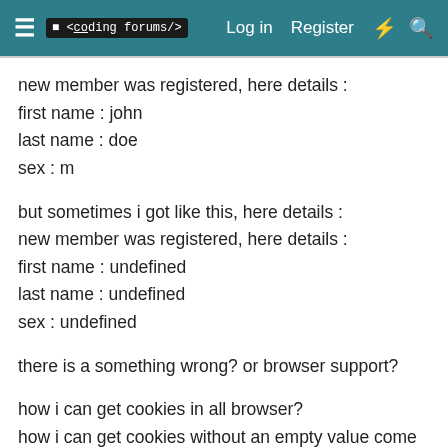≡ <coding forums/> Log in Register ⚡ 🔍
new member was registered, here details :
first name : john
last name : doe
sex : m
but sometimes i got like this, here details :
new member was registered, here details :
first name : undefined
last name : undefined
sex : undefined
there is a something wrong? or browser support?
how i can get cookies in all browser?
how i can get cookies without an empty value come into my post??
here is my testing script: